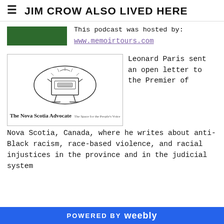JIM CROW ALSO LIVED HERE
This podcast was hosted by:
www.memoirtours.com
[Figure (logo): The Nova Scotia Advocate newspaper logo with printing press illustration and tagline]
Leonard Paris sent an open letter to the Premier of Nova Scotia, Canada, where he writes about anti-Black racism, race-based violence, and racial injustices in the province and in the judicial system
POWERED BY weebly